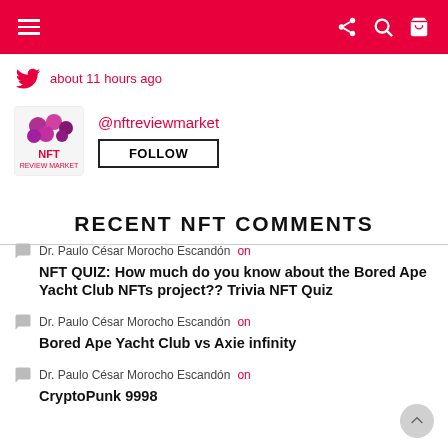Navigation bar with hamburger menu, share, search, cart icons
about 11 hours ago
[Figure (logo): NFT Review Market logo - purple cluster graphic with NFT text below]
@nftreviewmarket
FOLLOW
RECENT NFT COMMENTS
Dr. Paulo César Morocho Escandón on NFT QUIZ: How much do you know about the Bored Ape Yacht Club NFTs project?? Trivia NFT Quiz
Dr. Paulo César Morocho Escandón on Bored Ape Yacht Club vs Axie infinity
Dr. Paulo César Morocho Escandón on CryptoPunk 9998